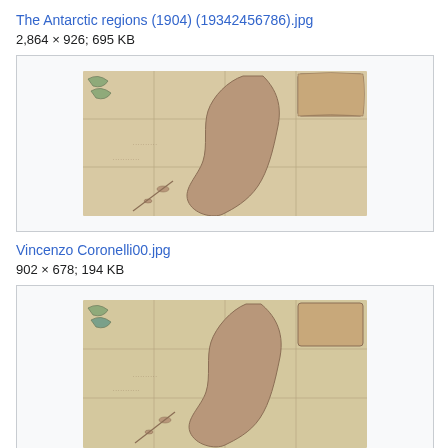The Antarctic regions (1904) (19342456786).jpg
2,864 × 926; 695 KB
[Figure (map): Historical map of the Antarctic regions, antique style, showing coastlines and ocean areas with decorative cartouche, sepia/tan coloring]
Vincenzo Coronelli00.jpg
902 × 678; 194 KB
[Figure (map): Historical map by Vincenzo Coronelli, similar antique style showing coastlines and ocean areas, sepia/tan coloring]
Vincenzo Maria Coronelli Mapa Del Sud Detto Altriment...